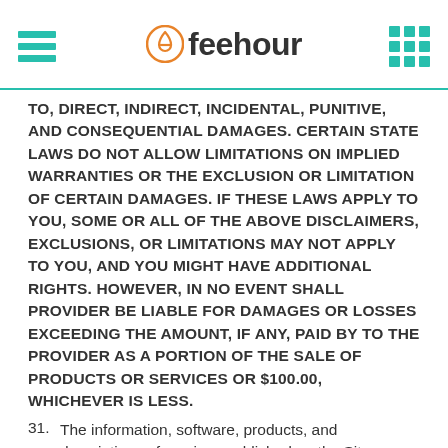feehour
TO, DIRECT, INDIRECT, INCIDENTAL, PUNITIVE, AND CONSEQUENTIAL DAMAGES. CERTAIN STATE LAWS DO NOT ALLOW LIMITATIONS ON IMPLIED WARRANTIES OR THE EXCLUSION OR LIMITATION OF CERTAIN DAMAGES. IF THESE LAWS APPLY TO YOU, SOME OR ALL OF THE ABOVE DISCLAIMERS, EXCLUSIONS, OR LIMITATIONS MAY NOT APPLY TO YOU, AND YOU MIGHT HAVE ADDITIONAL RIGHTS. HOWEVER, IN NO EVENT SHALL PROVIDER BE LIABLE FOR DAMAGES OR LOSSES EXCEEDING THE AMOUNT, IF ANY, PAID BY TO THE PROVIDER AS A PORTION OF THE SALE OF PRODUCTS OR SERVICES OR $100.00, WHICHEVER IS LESS.
31. The information, software, products, and descriptions of services published on the Site